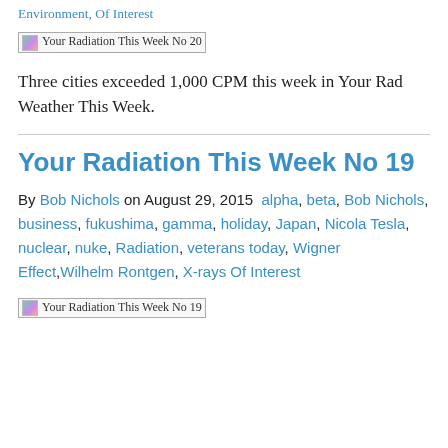Environment, Of Interest
[Figure (photo): Image placeholder for Your Radiation This Week No 20]
Three cities exceeded 1,000 CPM this week in Your Rad Weather This Week.
Your Radiation This Week No 19
By Bob Nichols on August 29, 2015 alpha, beta, Bob Nichols, business, fukushima, gamma, holiday, Japan, Nicola Tesla, nuclear, nuke, Radiation, veterans today, Wigner Effect, Wilhelm Rontgen, X-rays Of Interest
[Figure (photo): Image placeholder for Your Radiation This Week No 19]